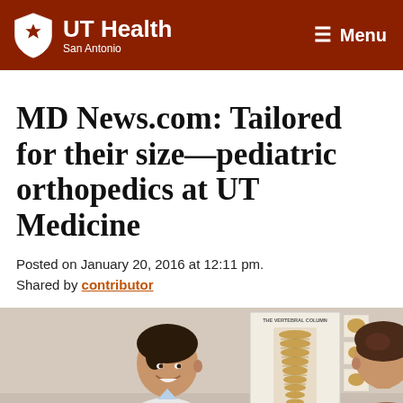UT Health San Antonio | Menu
MD News.com: Tailored for their size—pediatric orthopedics at UT Medicine
Posted on January 20, 2016 at 12:11 pm. Shared by contributor
[Figure (photo): A doctor smiling and talking with a patient in a medical office. A vertebral column anatomy poster is visible on the wall behind them.]